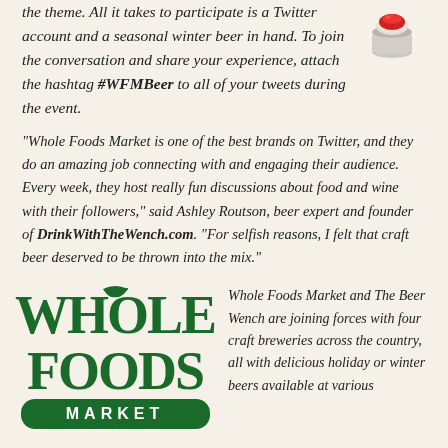the theme. All it takes to participate is a Twitter account and a seasonal winter beer in hand. To join the conversation and share your experience, attach the hashtag #WFMBeer to all of your tweets during the event.
[Figure (illustration): Small illustration of a red button or device on a light gray base]
“Whole Foods Market is one of the best brands on Twitter, and they do an amazing job connecting with and engaging their audience. Every week, they host really fun discussions about food and wine with their followers,” said Ashley Routson, beer expert and founder of DrinkWithTheWench.com. “For selfish reasons, I felt that craft beer deserved to be thrown into the mix.”
[Figure (logo): Whole Foods Market logo in dark green with decorative serif lettering]
Whole Foods Market and The Beer Wench are joining forces with four craft breweries across the country, all with delicious holiday or winter beers available at various